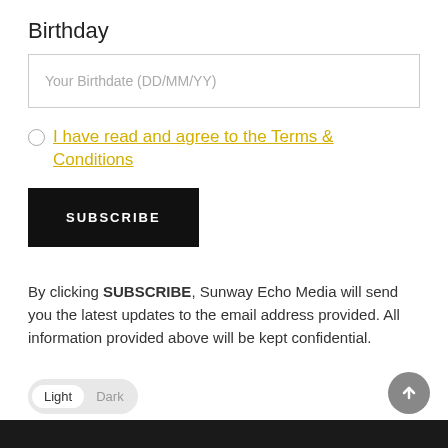Birthday
Your Birthdate (DD/MM/YY)
I have read and agree to the Terms & Conditions
SUBSCRIBE
By clicking SUBSCRIBE, Sunway Echo Media will send you the latest updates to the email address provided. All information provided above will be kept confidential.
Light  Dark